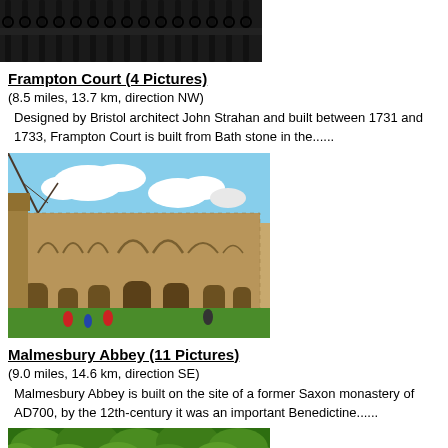[Figure (photo): Top portion of decorative iron gate, black ornamental metalwork]
Frampton Court (4 Pictures)
(8.5 miles, 13.7 km, direction NW)
Designed by Bristol architect John Strahan and built between 1731 and 1733, Frampton Court is built from Bath stone in the......
[Figure (photo): Malmesbury Abbey ruins, stone Gothic architecture with arched windows under a partly cloudy blue sky, green lawn in foreground]
Malmesbury Abbey (11 Pictures)
(9.0 miles, 14.6 km, direction SE)
Malmesbury Abbey is built on the site of a former Saxon monastery of AD700, by the 12th-century it was an important Benedictine......
[Figure (photo): Bottom partial image showing green foliage/trees]